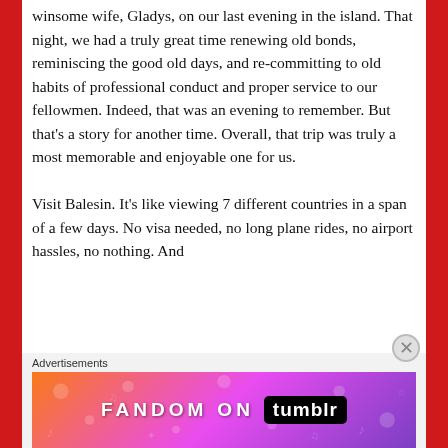winsome wife, Gladys, on our last evening in the island. That night, we had a truly great time renewing old bonds, reminiscing the good old days, and re-committing to old habits of professional conduct and proper service to our fellowmen. Indeed, that was an evening to remember. But that's a story for another time. Overall, that trip was truly a most memorable and enjoyable one for us.

Visit Balesin. It's like viewing 7 different countries in a span of a few days. No visa needed, no long plane rides, no airport hassles, no nothing. And
Advertisements
[Figure (illustration): Fandom on Tumblr advertisement banner with colorful gradient background (orange to purple) and decorative doodles]